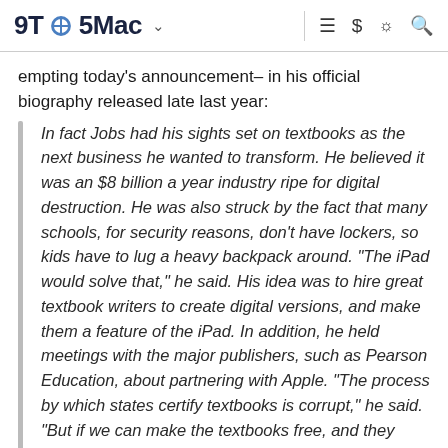9TO5Mac
empting today's announcement– in his official biography released late last year:
In fact Jobs had his sights set on textbooks as the next business he wanted to transform. He believed it was an $8 billion a year industry ripe for digital destruction. He was also struck by the fact that many schools, for security reasons, don't have lockers, so kids have to lug a heavy backpack around. "The iPad would solve that," he said. His idea was to hire great textbook writers to create digital versions, and make them a feature of the iPad. In addition, he held meetings with the major publishers, such as Pearson Education, about partnering with Apple. "The process by which states certify textbooks is corrupt," he said. "But if we can make the textbooks free, and they come with the iPad, then